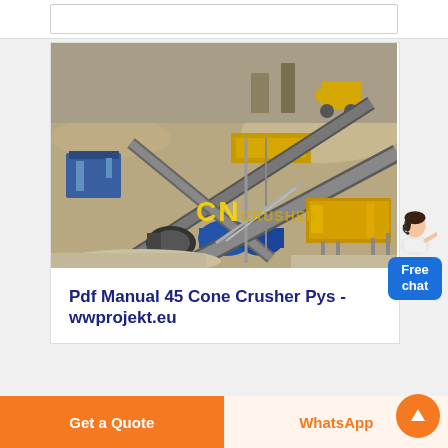[Figure (photo): Industrial stone crushing plant with conveyor belts, yellow machinery, and piles of crushed stone/gravel. A watermark reads 'CN CRUSHER' in yellow text.]
Pdf Manual 45 Cone Crusher Pys - wwprojekt.eu
[Figure (illustration): Free chat widget with a female customer service avatar and a blue rounded button labeled 'Free chat']
Get a Quote
WhatsApp